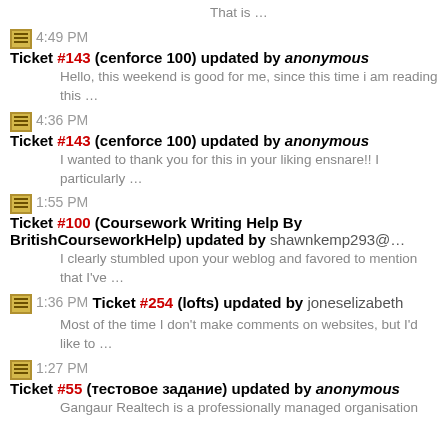That is …
4:49 PM Ticket #143 (cenforce 100) updated by anonymous — Hello, this weekend is good for me, since this time i am reading this …
4:36 PM Ticket #143 (cenforce 100) updated by anonymous — I wanted to thank you for this in your liking ensnare!! I particularly …
1:55 PM Ticket #100 (Coursework Writing Help By BritishCourseworkHelp) updated by shawnkemp293@… — I clearly stumbled upon your weblog and favored to mention that I've …
1:36 PM Ticket #254 (lofts) updated by joneselizabeth — Most of the time I don't make comments on websites, but I'd like to …
1:27 PM Ticket #55 (тестовое задание) updated by anonymous — Gangaur Realtech is a professionally managed organisation